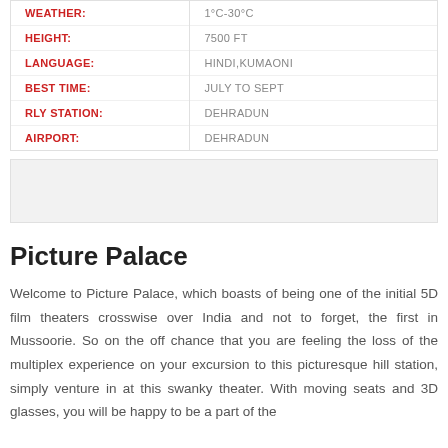| Field | Value |
| --- | --- |
| WEATHER: | 1°C-30°C |
| HEIGHT: | 7500 FT |
| LANGUAGE: | HINDI,KUMAONI |
| BEST TIME: | JULY TO SEPT |
| RLY STATION: | DEHRADUN |
| AIRPORT: | DEHRADUN |
[Figure (photo): Empty gray placeholder image area]
Picture Palace
Welcome to Picture Palace, which boasts of being one of the initial 5D film theaters crosswise over India and not to forget, the first in Mussoorie. So on the off chance that you are feeling the loss of the multiplex experience on your excursion to this picturesque hill station, simply venture in at this swanky theater. With moving seats and 3D glasses, you will be happy to be a part of the